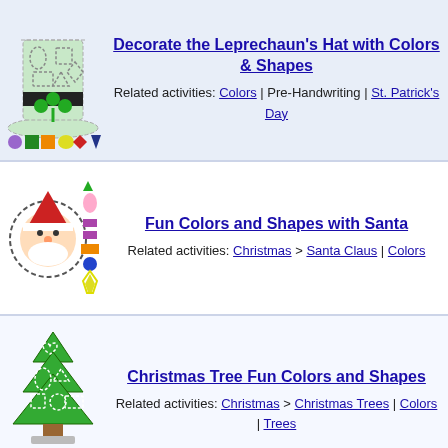[Figure (illustration): Leprechaun hat with shapes (oval, square, rectangle, triangle, diamond) and a green shamrock, with colored shapes row below (purple circle, green square, orange square, yellow oval, red diamond, dark blue triangle)]
Decorate the Leprechaun's Hat with Colors & Shapes
Related activities: Colors | Pre-Handwriting | St. Patrick's Day
[Figure (illustration): Santa Claus face in a wreath circle, with colorful shapes on the right side (green triangle, pink oval, purple squares, orange rectangle, blue circle, yellow star)]
Fun Colors and Shapes with Santa
Related activities: Christmas > Santa Claus | Colors
[Figure (illustration): Green Christmas tree with shapes (heart, oval, triangle, square, circle, rectangle) and shapes row below (yellow star, blue circle, purple rectangle, green square, orange oval, red triangle, dark blue arrow)]
Christmas Tree Fun Colors and Shapes
Related activities: Christmas > Christmas Trees | Colors | Trees